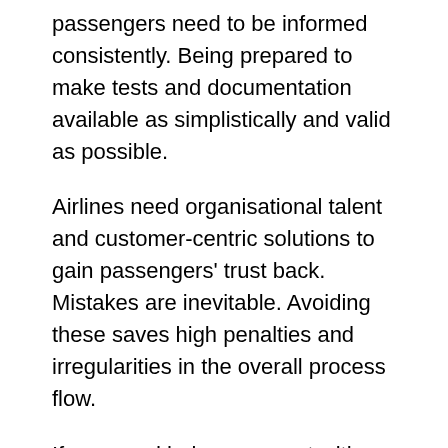passengers need to be informed consistently. Being prepared to make tests and documentation available as simplistically and valid as possible.
Airlines need organisational talent and customer-centric solutions to gain passengers' trust back. Mistakes are inevitable. Avoiding these saves high penalties and irregularities in the overall process flow.
If you need help or support with this, reach out to the ES_Mobility team today.
Or, for further insights, subscribe to our newsletter here.